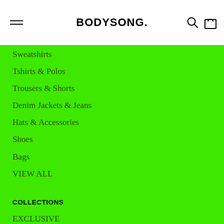BODYSONG.
Sweatshirts
Tshirts & Polos
Trousers & Shorts
Denim Jackets & Jeans
Hats & Accessories
Shoes
Bags
VIEW ALL
COLLECTIONS
EXCLUSIVE
+ DESCENTE
+ TOCANA